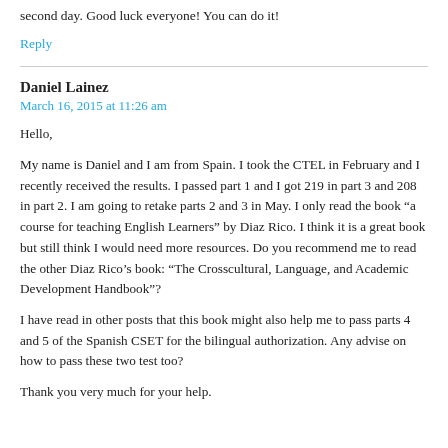second day. Good luck everyone! You can do it!
Reply
Daniel Lainez
March 16, 2015 at 11:26 am
Hello,
My name is Daniel and I am from Spain. I took the CTEL in February and I recently received the results. I passed part 1 and I got 219 in part 3 and 208 in part 2. I am going to retake parts 2 and 3 in May. I only read the book “a course for teaching English Learners” by Diaz Rico. I think it is a great book but still think I would need more resources. Do you recommend me to read the other Diaz Rico’s book: “The Crosscultural, Language, and Academic Development Handbook”?
I have read in other posts that this book might also help me to pass parts 4 and 5 of the Spanish CSET for the bilingual authorization. Any advise on how to pass these two test too?
Thank you very much for your help.